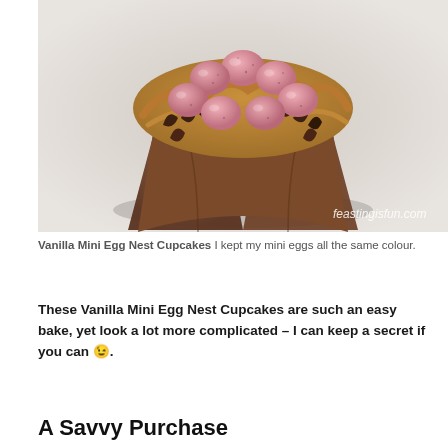[Figure (photo): Overhead view of a chocolate cupcake in a brown paper tulip wrapper, topped with caramel-coloured frosting, chocolate curls, and pink speckled mini eggs arranged in a nest pattern. Watermark reads feastingisfun.com.]
Vanilla Mini Egg Nest Cupcakes I kept my mini eggs all the same colour.
These Vanilla Mini Egg Nest Cupcakes are such an easy bake, yet look a lot more complicated – I can keep a secret if you can 😉.
A Savvy Purchase